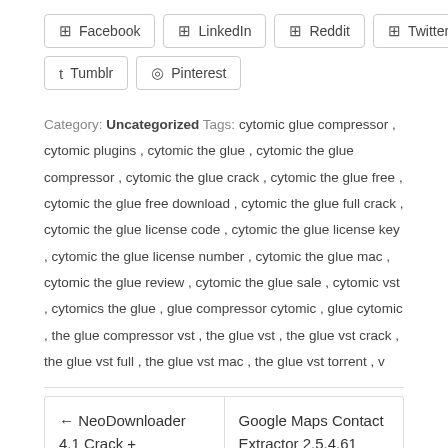[Figure (other): Social sharing buttons: Facebook, LinkedIn, Reddit, Twitter, Tumblr, Pinterest]
Category: Uncategorized Tags: cytomic glue compressor, cytomic plugins, cytomic the glue, cytomic the glue compressor, cytomic the glue crack, cytomic the glue free, cytomic the glue free download, cytomic the glue full crack, cytomic the glue license code, cytomic the glue license key, cytomic the glue license number, cytomic the glue mac, cytomic the glue review, cytomic the glue sale, cytomic vst, cytomics the glue, glue compressor cytomic, glue cytomic, the glue compressor vst, the glue vst, the glue vst crack, the glue vst full, the glue vst mac, the glue vst torrent, v
← NeoDownloader 4.1 Crack + Registration Code
Google Maps Contact Extractor 2.5.4.61 Crack +